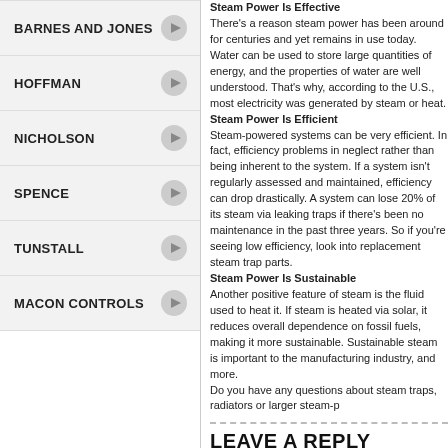BARNES AND JONES
HOFFMAN
NICHOLSON
SPENCE
TUNSTALL
MACON CONTROLS
Steam Power Is Effective There's a reason steam power has been around for centuries and yet remains in use today. Water can be used to store large quantities of energy, and the properties of water are well understood. That's why, according to the U.S., most electricity was generated by steam or heat. Steam Power Is Efficient Steam-powered systems can be very efficient. In fact, efficiency problems in steam systems are often due to neglect rather than being inherent to the system. If a system isn't regularly assessed and maintained, efficiency can drop drastically. A system can lose 20% of its steam via leaking traps if there's been no maintenance in the past three years. So if you're seeing low efficiency, look into replacement steam trap parts. Steam Power Is Sustainable Another positive feature of steam is the fluid used to heat it. If steam is heated via solar, it reduces overall dependence on fossil fuels, making it more sustainable. Sustainable steam is important to the manufacturing industry, and more. Do you have any questions about steam traps, radiators or larger steam-p
LEAVE A REPLY